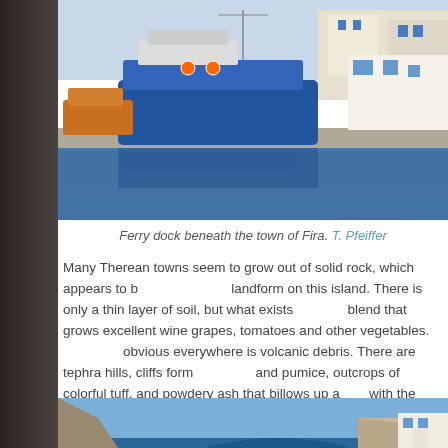[Figure (photo): Ferry dock with blue boats moored at a harbor, white buildings visible in background, reflecting in water. View of ferry dock beneath the town of Fira.]
Ferry dock beneath the town of Fira. T. Pfeiffer
Many Therean towns seem to grow out of solid rock, which appears to be the dominant landform on this island. There is only a thin layer of soil, but what exists is a mineral-rich blend that grows excellent wine grapes, tomatoes and other vegetables. What is most obvious everywhere is volcanic debris. There are tephra hills, cliffs formed from lava and pumice, outcrops of colorful tuff, and powdery ash that billows up above the roadway with the passage of every car. Almost everything about the landscape is otherworldly, extraterrestrial.
[Figure (photo): Aerial view of volcanic caldera cliffs and deep blue sea, with a small island visible in the middle of the caldera waters, and white buildings perched on cliffs in background.]